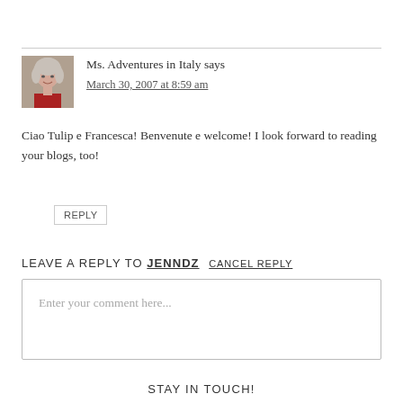Ms. Adventures in Italy says
March 30, 2007 at 8:59 am
Ciao Tulip e Francesca! Benvenute e welcome! I look forward to reading your blogs, too!
REPLY
LEAVE A REPLY TO JENNDZ CANCEL REPLY
Enter your comment here...
STAY IN TOUCH!